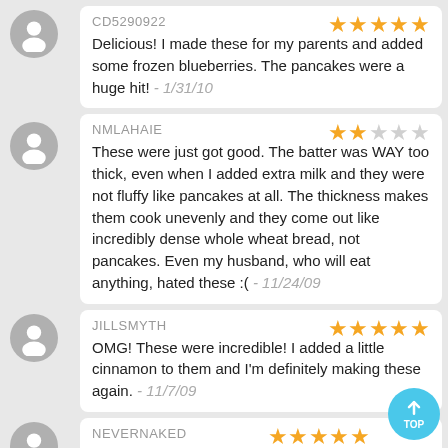CD5290922 ★★★★★ Delicious! I made these for my parents and added some frozen blueberries. The pancakes were a huge hit! - 1/31/10
NMLAHAIE ★★☆☆☆ These were just got good. The batter was WAY too thick, even when I added extra milk and they were not fluffy like pancakes at all. The thickness makes them cook unevenly and they come out like incredibly dense whole wheat bread, not pancakes. Even my husband, who will eat anything, hated these :( - 11/24/09
JILLSMYTH ★★★★★ OMG! These were incredible! I added a little cinnamon to them and I'm definitely making these again. - 11/7/09
NEVERNAKED ★★★★★ i used fat free buttermilk in place of skim milk and